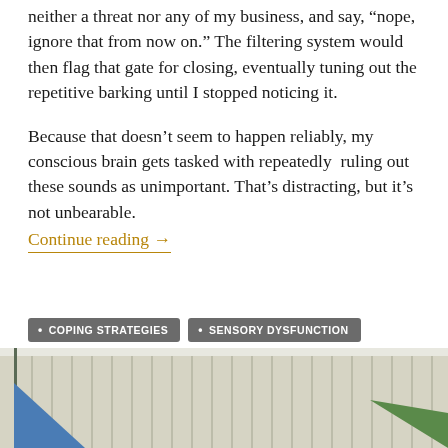neither a threat nor any of my business, and say, “nope, ignore that from now on.” The filtering system would then flag that gate for closing, eventually tuning out the repetitive barking until I stopped noticing it.
Because that doesn’t seem to happen reliably, my conscious brain gets tasked with repeatedly  ruling out these sounds as unimportant. That’s distracting, but it’s not unbearable.
Continue reading →
COPING STRATEGIES
SENSORY DYSFUNCTION
SENSORY GATING
SENSORY PROCESSING
SENSORY REGULATION
SENSORY SENSITIVITIES
[Figure (photo): Bottom portion of a photo showing a painted wooden fence or wall with vertical boards in light gray/beige tones. A blue shape is visible on the lower left and a green angular shape on the lower right.]